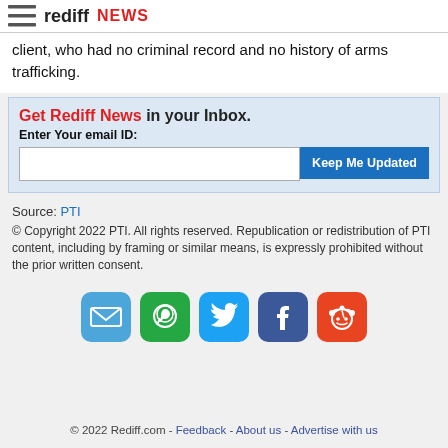rediff NEWS
client, who had no criminal record and no history of arms trafficking.
Get Rediff News in your Inbox.
Enter Your email ID:
Source: PTI
© Copyright 2022 PTI. All rights reserved. Republication or redistribution of PTI content, including by framing or similar means, is expressly prohibited without the prior written consent.
[Figure (infographic): Row of 5 social sharing icons: email (blue), WhatsApp (green), Twitter (light blue), Facebook (dark blue), Reddit (orange-red)]
© 2022 Rediff.com - Feedback - About us - Advertise with us